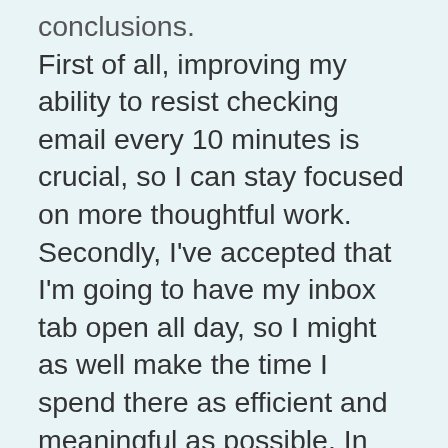conclusions. First of all, improving my ability to resist checking email every 10 minutes is crucial, so I can stay focused on more thoughtful work. Secondly, I've accepted that I'm going to have my inbox tab open all day, so I might as well make the time I spend there as efficient and meaningful as possible. In attempting to optimize my relationship with email, I researched the most useful Gmail plugins on the market, many of which I use in my own inbox. Take